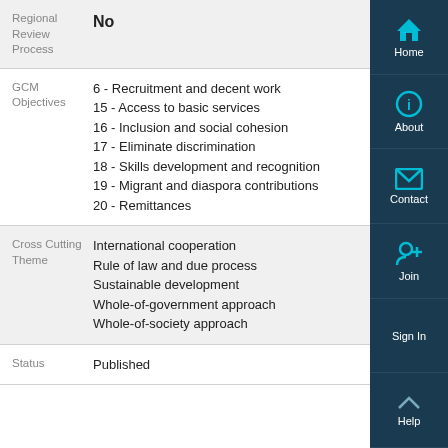| Field | Value |
| --- | --- |
| Regional Review Process | No |
| GCM Objectives | 6 - Recruitment and decent work
15 - Access to basic services
16 - Inclusion and social cohesion
17 - Eliminate discrimination
18 - Skills development and recognition
19 - Migrant and diaspora contributions
20 - Remittances |
| Cross Cutting Theme | International cooperation
Rule of law and due process
Sustainable development
Whole-of-government approach
Whole-of-society approach |
| Status | Published |